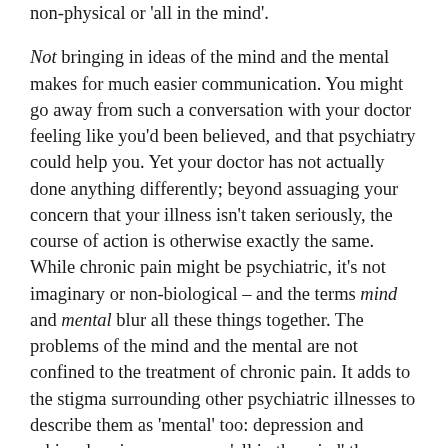non-physical or 'all in the mind'.
Not bringing in ideas of the mind and the mental makes for much easier communication. You might go away from such a conversation with your doctor feeling like you'd been believed, and that psychiatry could help you. Yet your doctor has not actually done anything differently; beyond assuaging your concern that your illness isn't taken seriously, the course of action is otherwise exactly the same. While chronic pain might be psychiatric, it's not imaginary or non-biological – and the terms mind and mental blur all these things together. The problems of the mind and the mental are not confined to the treatment of chronic pain. It adds to the stigma surrounding other psychiatric illnesses to describe them as 'mental' too: depression and schizophrenia are no more 'all in the mind' than chronic pain.
As well as reinforcing the stigma around mental illness, the messiness of mental also fuels misguided arguments for radical